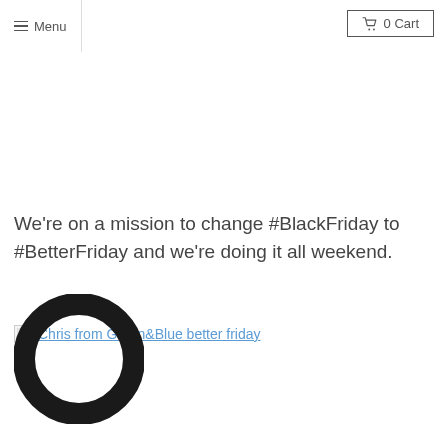≡ Menu   🛒 0 Cart
We're on a mission to change #BlackFriday to #BetterFriday and we're doing it all weekend.
[Figure (illustration): Broken image placeholder linked to 'Chris from Green&Blue better friday']
[Figure (logo): Black circular logo/icon at bottom left]